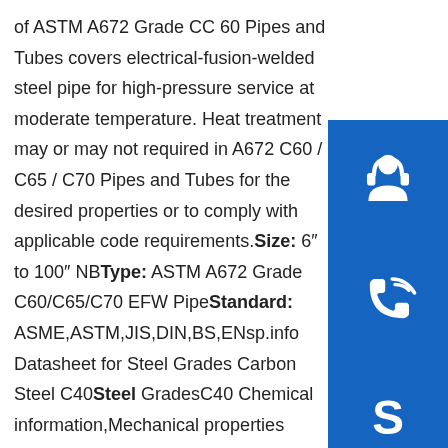of ASTM A672 Grade CC 60 Pipes and Tubes covers electrical-fusion-welded steel pipe for high-pressure service at moderate temperature. Heat treatment may or may not required in A672 C60 / C65 / C70 Pipes and Tubes for the desired properties or to comply with applicable code requirements. Size: 6″ to 100″ NB Type: ASTM A672 Grade C60/C65/C70 EFW Pipe Standard: ASME,ASTM,JIS,DIN,BS,ENsp.info Datasheet for Steel Grades Carbon Steel C40 Steel Grades C40 Chemical information, Mechanical properties Physical properties, Mechanical properties, Heat treatment, and Micro structure This page is mainly introduced the C40 Datasheet, including chemicalsp.info C45 Medium Carbon Steel Grade - BS EN ISO Material …Jul 19, 2018 · C45 grade steel is defined as a medium carbon steel offering tensile strengths in the modest
[Figure (infographic): Three blue square icon buttons on the right sidebar: headset/support icon, phone/call icon, and Skype icon]